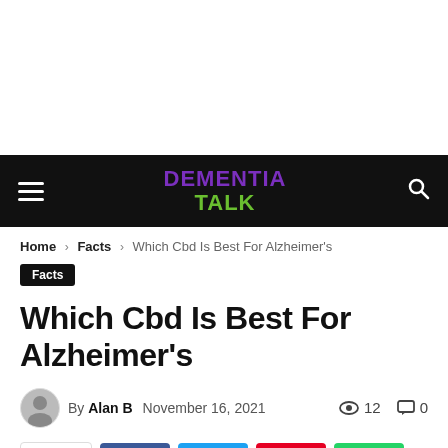[Figure (other): White advertisement placeholder area at top of page]
DEMENTIA TALK
Home › Facts › Which Cbd Is Best For Alzheimer's
Facts
Which Cbd Is Best For Alzheimer's
By Alan B  November 16, 2021  👁 12  💬 0
[Figure (other): Social sharing buttons row: share, Facebook, Twitter, Pinterest, WhatsApp]